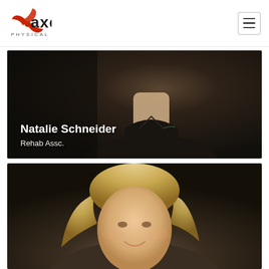[Figure (logo): Axes Physical Therapy logo with red pinwheel icon and black AXES text with PHYSICAL THERAPY subtitle]
[Figure (photo): Profile photo of Natalie Schneider, a person wearing a dark/black polo shirt against a dark background, shown from chest up. Name and title overlay at bottom left.]
Natalie Schneider
Rehab Assc.
[Figure (photo): Profile photo of a blonde woman smiling, shown from shoulders up against a dark background.]